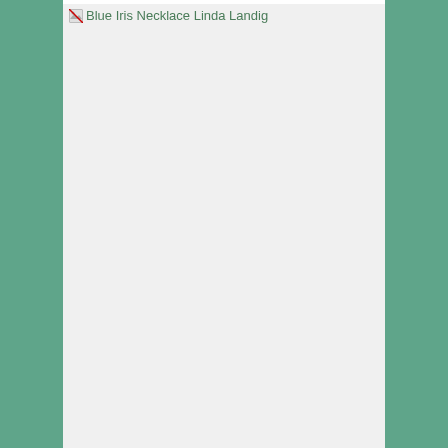[Figure (photo): A broken image placeholder showing alt text 'Blue Iris Necklace Linda Landig' with a small broken image icon. The image area has a light gray background filling most of the page content area.]